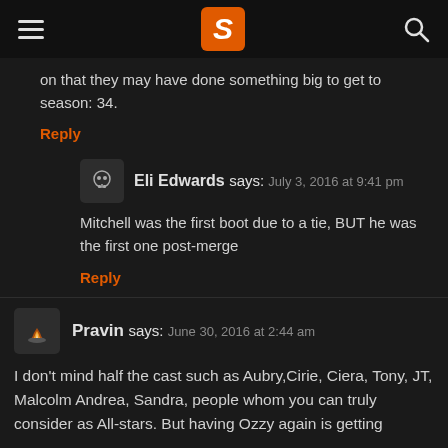Survivor Oz header with logo, hamburger menu, and search icon
on that they may have done something big to get to season: 34.
Reply
Eli Edwards says: July 3, 2016 at 9:41 pm
Mitchell was the first boot due to a tie, BUT he was the first one post-merge
Reply
Pravin says: June 30, 2016 at 2:44 am
I don't mind half the cast such as Aubry,Cirie, Ciera, Tony, JT, Malcolm Andrea, Sandra, people whom you can truly consider as All-stars. But having Ozzy again is getting